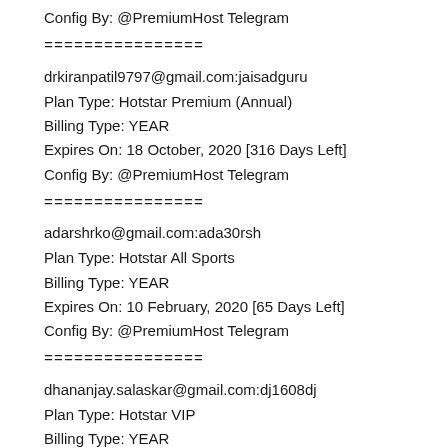Config By: @PremiumHost Telegram
================
drkiranpatil9797@gmail.com:jaisadguru
Plan Type: Hotstar Premium (Annual)
Billing Type: YEAR
Expires On: 18 October, 2020 [316 Days Left]
Config By: @PremiumHost Telegram
================
adarshrko@gmail.com:ada30rsh
Plan Type: Hotstar All Sports
Billing Type: YEAR
Expires On: 10 February, 2020 [65 Days Left]
Config By: @PremiumHost Telegram
================
dhananjay.salaskar@gmail.com:dj1608dj
Plan Type: Hotstar VIP
Billing Type: YEAR
Expires On: 14 June, 2020 [190 Days Left]